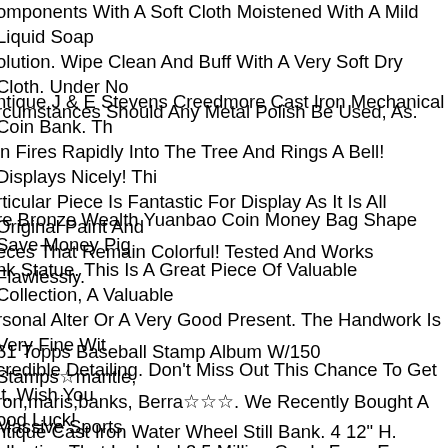omponents With A Soft Cloth Moistened With A Mild Liquid Soap olution. Wipe Clean And Buff With A Very Soft Dry Cloth. Under No rcumstances Should Any Metal Polish Be Used, As.
ntique J & E Stevens Creedmore Cast Iron Mechanical Coin Bank. Th in Fires Rapidly Into The Tree And Rings A Bell! Displays Nicely! Thi rticular Piece Is Fantastic For Display As It Is All Original Paint And eces That Remain Colorful! Tested And Works Flawlessly.
re Bronze Wealth Yuanbao Coin Money Bag Shape Save Money Pig nk Statue. This Is A Great Piece Of Valuable Collection, A Valuable rsonal Alter Or A Very Good Present. The Handwork Is Very Fine Wit credible Detailing. Don't Miss Out This Chance To Get It. Wish You ood Luck!
61 Topps Baseball Stamp Album W/150 Stamps☆mantle, ron,maris,banks, Berra☆☆☆. We Recently Bought A Massive Sports ollection That Included 3.5 Million Cards From Every Sport.
ntique Cast Iron Water Wheel Still Bank. 4 12" H. Maker Unknown As ere Are Not Many That Were Made Or Had Survived. No Breaks.